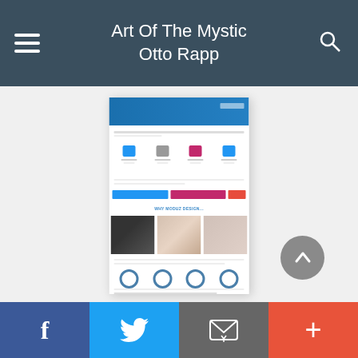Art Of The Mystic Otto Rapp
[Figure (screenshot): Screenshot of a website showing e-commerce page with sections including icons, buttons, photos, progress circles, and a dark footer section with text 'Trusted by Leading E-Commerce Entrepreneurs']
Facebook | Twitter | Email | Plus